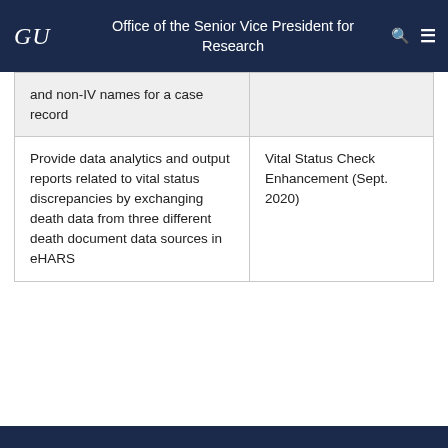GU Office of the Senior Vice President for Research
| and non-IV names for a case record |  |
| Provide data analytics and output reports related to vital status discrepancies by exchanging death data from three different death document data sources in eHARS | Vital Status Check Enhancement (Sept. 2020) |